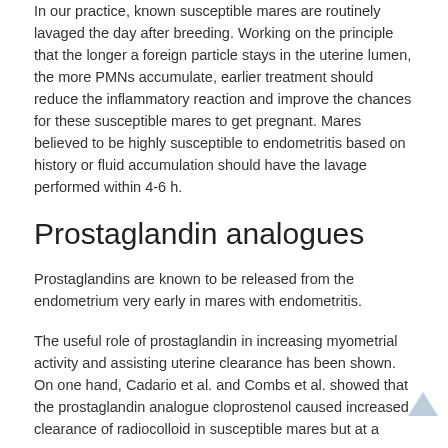In our practice, known susceptible mares are routinely lavaged the day after breeding. Working on the principle that the longer a foreign particle stays in the uterine lumen, the more PMNs accumulate, earlier treatment should reduce the inflammatory reaction and improve the chances for these susceptible mares to get pregnant. Mares believed to be highly susceptible to endometritis based on history or fluid accumulation should have the lavage performed within 4-6 h.
Prostaglandin analogues
Prostaglandins are known to be released from the endometrium very early in mares with endometritis.
The useful role of prostaglandin in increasing myometrial activity and assisting uterine clearance has been shown. On one hand, Cadario et al. and Combs et al. showed that the prostaglandin analogue cloprostenol caused increased clearance of radiocolloid in susceptible mares but at a